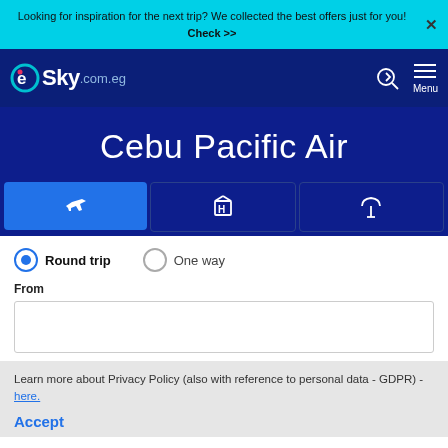Looking for inspiration for the next trip? We collected the best offers just for you! Check >>
[Figure (logo): eSky.com.eg logo in white on dark blue navbar, with login icon and Menu hamburger icon]
Cebu Pacific Air
[Figure (infographic): Three tab icons: airplane (active, blue), hotel (H), and umbrella/insurance]
Round trip   One way
From
Learn more about Privacy Policy (also with reference to personal data - GDPR) - here.
Accept